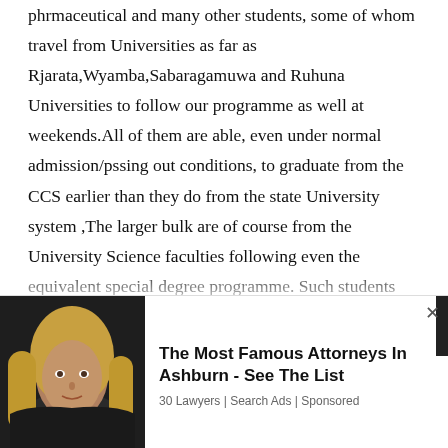phrmaceutical and many other students, some of whom travel from Universities as far as Rjarata,Wyamba,Sabaragamuwa and Ruhuna Universities to follow our programme as well at weekends.All of them are able, even under normal admission/pssing out conditions, to graduate from the CCS earlier than they do from the state University system ,The larger bulk are of course from the University Science faculties following even the equivalent special degree programme. Such students also my be willing, if their fees are paid by the UGC,to follow our courses and their places will be available for the additional intake.These are
[Figure (photo): Advertisement overlay showing a woman with blonde hair against a dark background, with text 'The Most Famous Attorneys In Ashburn - See The List' and sub-text '30 Lawyers | Search Ads | Sponsored']